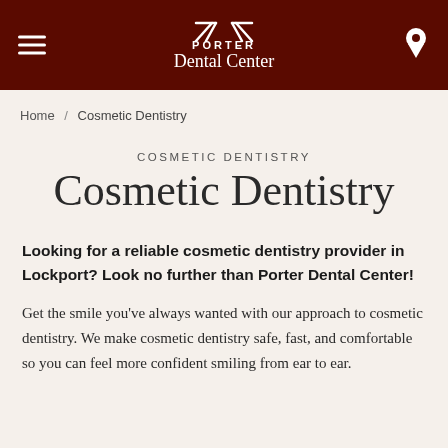[Figure (logo): Porter Dental Center logo — white text and dental instrument icon on dark red/brown header background, with hamburger menu icon on left and location pin icon on right]
Home / Cosmetic Dentistry
COSMETIC DENTISTRY
Cosmetic Dentistry
Looking for a reliable cosmetic dentistry provider in Lockport? Look no further than Porter Dental Center!
Get the smile you've always wanted with our approach to cosmetic dentistry. We make cosmetic dentistry safe, fast, and comfortable so you can feel more confident smiling from ear to ear.